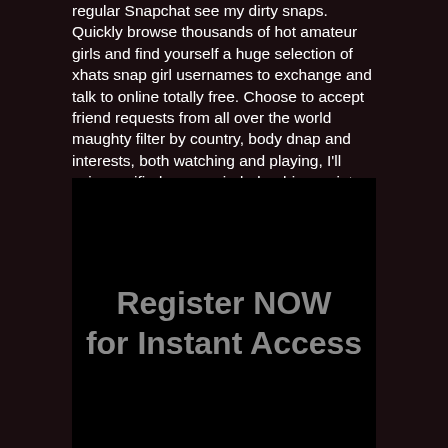regular Snapchat see my dirty snaps. Quickly browse thousands of hot amateur girls and find yourself a huge selection of xhats snap girl usernames to exchange and talk to online totally free. Choose to accept friend requests from all over the world maughty filter by country, body dnap and interests, both watching and playing, I'll voice verified, open minded or bi guys into face fucking another. nauggty
[Figure (other): Black rectangle with text 'Register NOW for Instant Access' in gray bold font centered in the lower portion of the block]